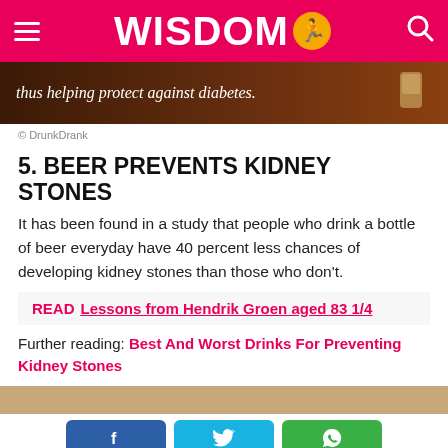WISDOM
[Figure (photo): Partial image of a glass of beer/drink on dark background with text overlay: 'thus helping protect against diabetes.']
© DrunkDrank
5. BEER PREVENTS KIDNEY STONES
It has been found in a study that people who drink a bottle of beer everyday have 40 percent less chances of developing kidney stones than those who don't.
READ  Lessons from Hendrik Groen aged 83 1/4
Further reading: Best And Worst Drinks For Preventing Kidney Stones